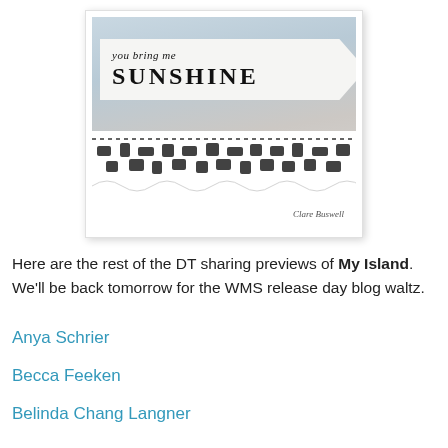[Figure (photo): A close-up photo of a handmade greeting card with a banner reading 'you bring me SUNSHINE' in script and bold uppercase letters, with lace trim and signature reading 'Clare Buswell']
Here are the rest of the DT sharing previews of My Island. We'll be back tomorrow for the WMS release day blog waltz.
Anya Schrier
Becca Feeken
Belinda Chang Langner
Clare Buswell